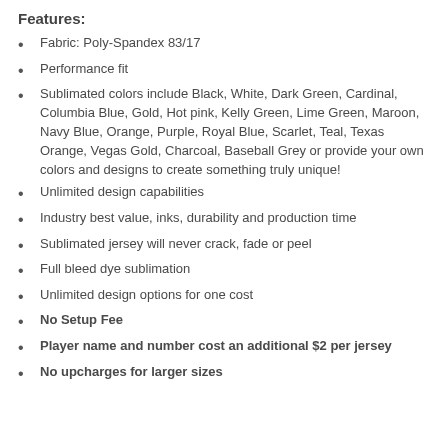Features:
Fabric: Poly-Spandex 83/17
Performance fit
Sublimated colors include Black, White, Dark Green, Cardinal, Columbia Blue, Gold, Hot pink, Kelly Green, Lime Green, Maroon, Navy Blue, Orange, Purple, Royal Blue, Scarlet, Teal, Texas Orange, Vegas Gold, Charcoal, Baseball Grey or provide your own colors and designs to create something truly unique!
Unlimited design capabilities
Industry best value, inks, durability and production time
Sublimated jersey will never crack, fade or peel
Full bleed dye sublimation
Unlimited design options for one cost
No Setup Fee
Player name and number cost an additional $2 per jersey
No upcharges for larger sizes